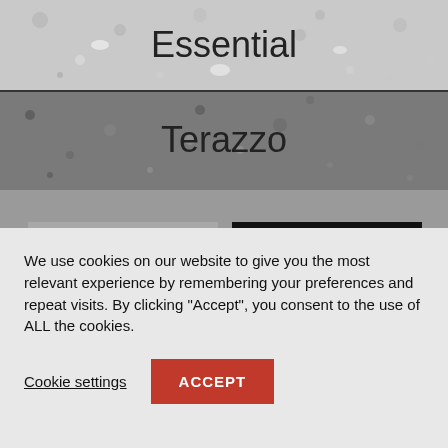Essential
Terazzo
[Figure (photo): Light grey speckled terrazzo stone texture sample]
[Figure (photo): Dark black speckled terrazzo stone texture sample with white/grey aggregate]
We use cookies on our website to give you the most relevant experience by remembering your preferences and repeat visits. By clicking "Accept", you consent to the use of ALL the cookies.
Cookie settings
ACCEPT